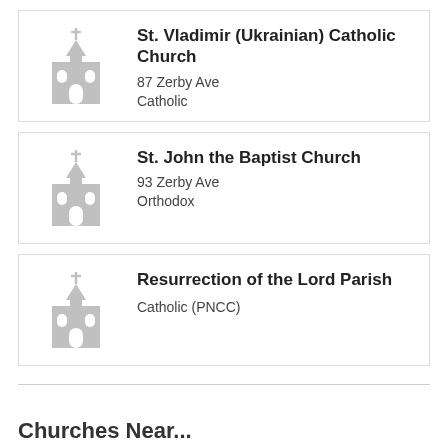[Figure (illustration): Church building icon (silhouette, light gray)]
St. Vladimir (Ukrainian) Catholic Church
87 Zerby Ave
Catholic
[Figure (illustration): Church building icon (silhouette, light gray)]
St. John the Baptist Church
93 Zerby Ave
Orthodox
[Figure (illustration): Church building icon (silhouette, light gray)]
Resurrection of the Lord Parish
Catholic (PNCC)
Churches Near...